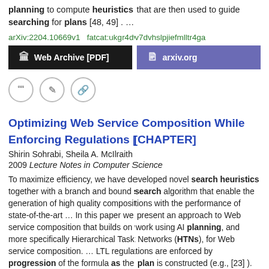planning to compute heuristics that are then used to guide searching for plans [48, 49] . …
arXiv:2204.10669v1   fatcat:ukgr4dv7dvhslpjiefmlltr4ga
[Figure (screenshot): Two buttons: 'Web Archive [PDF]' on dark background and 'arxiv.org' on purple background]
[Figure (infographic): Three circular icon buttons: quote, edit, and link icons]
Optimizing Web Service Composition While Enforcing Regulations [CHAPTER]
Shirin Sohrabi, Sheila A. McIlraith
2009 Lecture Notes in Computer Science
To maximize efficiency, we have developed novel search heuristics together with a branch and bound search algorithm that enable the generation of high quality compositions with the performance of state-of-the-art … In this paper we present an approach to Web service composition that builds on work using AI planning, and more specifically Hierarchical Task Networks (HTNs), for Web service composition. … LTL regulations are enforced by progression of the formula as the plan is constructed (e.g., [23] ). …
doi:10.1007/978-3-642-04930-9_38
fatcat:ga6oandfgvbfrd5rfi57mlkwni